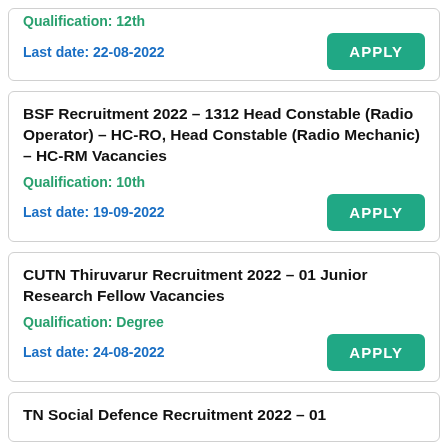Qualification: 12th
Last date: 22-08-2022
BSF Recruitment 2022 – 1312 Head Constable (Radio Operator) – HC-RO, Head Constable (Radio Mechanic) – HC-RM Vacancies
Qualification: 10th
Last date: 19-09-2022
CUTN Thiruvarur Recruitment 2022 – 01 Junior Research Fellow Vacancies
Qualification: Degree
Last date: 24-08-2022
TN Social Defence Recruitment 2022 – 01